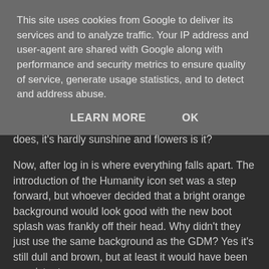This site uses cookies from Google to deliver its services and to analyze traffic. Your IP address and user-agent are shared with Google along with performance and security metrics to ensure quality of service, generate usage statistics, and to detect and address abuse.
LEARN MORE   OK
does, it's hardly sunshine and flowers is it?
Now, after log in is where everything falls apart. The introduction of the Humanity icon set was a step forward, but whoever decided that a bright orange background would look good with the new boot splash was frankly off their head. Why didn't they just use the same background as the GDM? Yes it's still dull and brown, but at least it would have been consistent.
The GTK theme changes were just a mess, the window borders have changed to a dark muddy brown, the previous Human colours at least would have matched the orange background slightly... the whole desktop theme seemed like